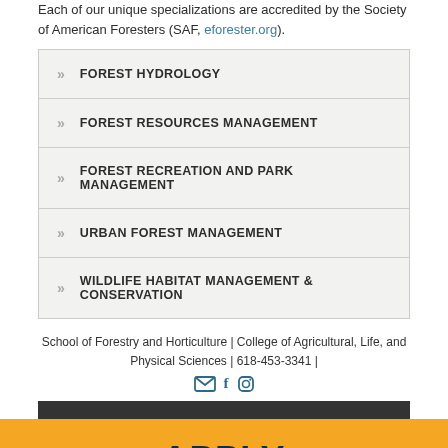Each of our unique specializations are accredited by the Society of American Foresters (SAF, eforester.org).
FOREST HYDROLOGY
FOREST RESOURCES MANAGEMENT
FOREST RECREATION AND PARK MANAGEMENT
URBAN FOREST MANAGEMENT
WILDLIFE HABITAT MANAGEMENT & CONSERVATION
School of Forestry and Horticulture | College of Agricultural, Life, and Physical Sciences | 618-453-3341 |
[Figure (infographic): Social media icons: email, Facebook, Instagram]
APPLY